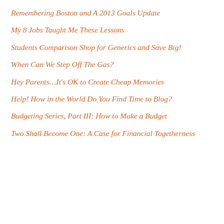Remembering Boston and A 2013 Goals Update
My 8 Jobs Taught Me These Lessons
Students Comparison Shop for Generics and Save Big!
When Can We Step Off The Gas?
Hey Parents…It's OK to Create Cheap Memories
Help! How in the World Do You Find Time to Blog?
Budgeting Series, Part III: How to Make a Budget
Two Shall Become One: A Case for Financial Togetherness